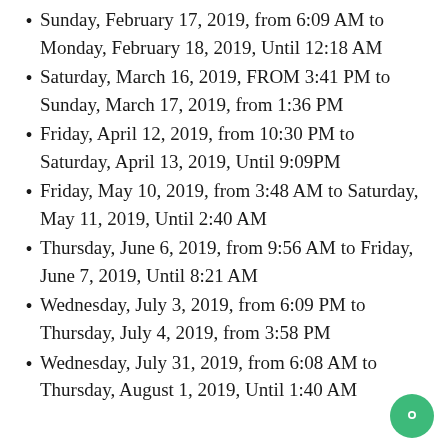Sunday, February 17, 2019, from 6:09 AM to Monday, February 18, 2019, Until 12:18 AM
Saturday, March 16, 2019, FROM 3:41 PM to Sunday, March 17, 2019, from 1:36 PM
Friday, April 12, 2019, from 10:30 PM to Saturday, April 13, 2019, Until 9:09PM
Friday, May 10, 2019, from 3:48 AM to Saturday, May 11, 2019, Until 2:40 AM
Thursday, June 6, 2019, from 9:56 AM to Friday, June 7, 2019, Until 8:21 AM
Wednesday, July 3, 2019, from 6:09 PM to Thursday, July 4, 2019, from 3:58 PM
Wednesday, July 31, 2019, from 6:08 AM to Thursday, August 1, 2019, Until 1:40 AM